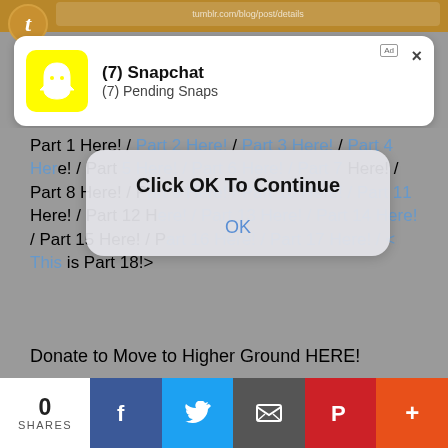[Figure (screenshot): Mobile browser top bar with Tumblr icon and URL bar]
[Figure (screenshot): Snapchat ad notification card showing '(7) Snapchat' and '(7) Pending Snaps' with yellow Snapchat logo, Ad badge, and X close button]
Part 1 Here! / Part 2 Here! / Part 3 Here! / Part 4 Here! / Part 5 Here! / Part 6 Here! / Part 7 Here! / Part 8 Here! / Part 9 Here! / Part 10 Here! / Part 11 Here! / Part 12 Here! / Part 13 Here! / Part 14 Here! / Part 15 Here! / Part 16 Here! / Part 17 Here! / < This is Part 18!>
[Figure (screenshot): Modal dialog box with title 'Click OK To Continue' and blue 'OK' button]
Donate to Move to Higher Ground HERE!
* Your eyes open, and your hand flies to your throat
[Figure (screenshot): Social sharing bar at bottom with 0 SHARES, Facebook, Twitter, Email, Pinterest, and More buttons]